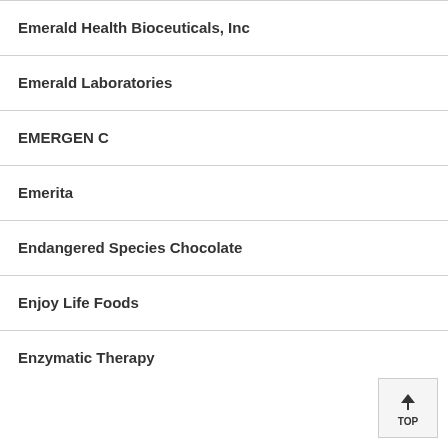Emerald Health Bioceuticals, Inc
Emerald Laboratories
EMERGEN C
Emerita
Endangered Species Chocolate
Enjoy Life Foods
Enzymatic Therapy